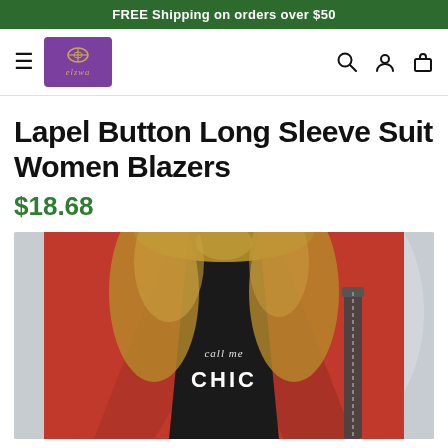FREE Shipping on orders over $50
[Figure (logo): elzwa brand logo - purple rectangle with gold decorative symbol and italic brand name]
Lapel Button Long Sleeve Suit Women Blazers
$18.68
[Figure (photo): Woman wearing a bright red blazer over a black graphic tee that reads 'call me CHIC', with wavy blonde hair, carrying a chain strap bag. Urban street fashion photo.]